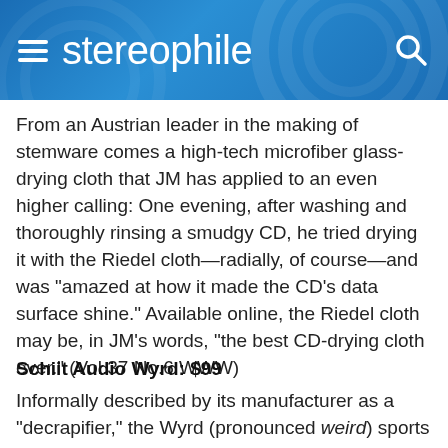stereophile
From an Austrian leader in the making of stemware comes a high-tech microfiber glass-drying cloth that JM has applied to an even higher calling: One evening, after washing and thoroughly rinsing a smudgy CD, he tried drying it with the Riedel cloth—radially, of course—and was "amazed at how it made the CD's data surface shine." Available online, the Riedel cloth may be, in JM's words, "the best CD-drying cloth ever." (Vol.37 No.6 WWW)
Schiit Audio Wyrd: $99
Informally described by its manufacturer as a "decrapifier," the Wyrd (pronounced weird) sports a single USB Type-A socket and a single USB Type-B socket, but more of which it is to be continued.